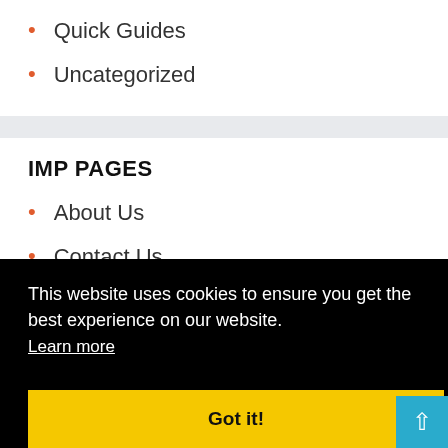Quick Guides
Uncategorized
IMP PAGES
About Us
Contact Us
This website uses cookies to ensure you get the best experience on our website.
Learn more
Got it!